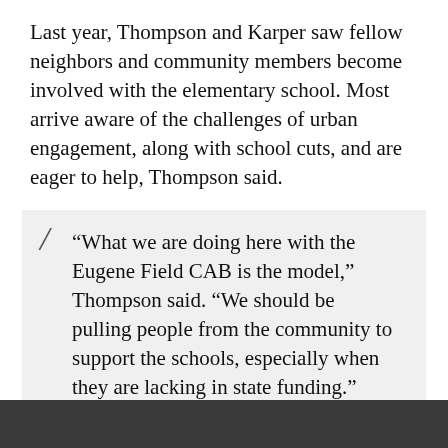Last year, Thompson and Karper saw fellow neighbors and community members become involved with the elementary school. Most arrive aware of the challenges of urban engagement, along with school cuts, and are eager to help, Thompson said.
“What we are doing here with the Eugene Field CAB is the model,” Thompson said. “We should be pulling people from the community to support the schools, especially when they are lacking in state funding.”
When it comes to volunteering at schools, often, parents tutor students, serve as reading buddies or teach after-school enrichment programs. Non-parents can face initial